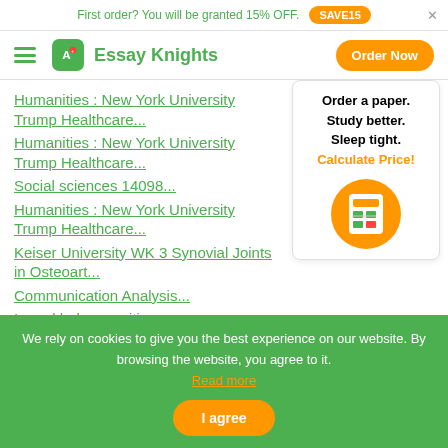First order? You will be granted 15% OFF. SAVE15
Essay Knights — Order Now
Humanities : New York University Trump Healthcare...
Humanities : New York University Trump Healthcare...
Social sciences 14098...
Humanities : New York University Trump Healthcare...
Keiser University WK 3 Synovial Joints in Osteoart...
Communication Analysis...
I need help on writing a paper on my future as a
Order a paper. Study better. Sleep tight. Calculate Price!
We rely on cookies to give you the best experience on our website. By browsing the website, you agree to it. Read more
I agree